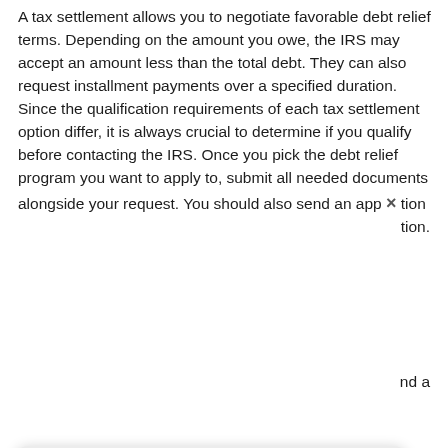A tax settlement allows you to negotiate favorable debt relief terms. Depending on the amount you owe, the IRS may accept an amount less than the total debt. They can also request installment payments over a specified duration. Since the qualification requirements of each tax settlement option differ, it is always crucial to determine if you qualify before contacting the IRS. Once you pick the debt relief program you want to apply to, submit all needed documents alongside your request. You should also send an app  ×  tion  tion.
[Figure (screenshot): A chat widget popup overlay with a waving hand emoji (🖐️), message 'Hi, let us know if you have any questions.' and two buttons: 'Chat now' (blue rounded) and 'Just browsing' (light grey rounded). Below the popup is a message input bar with placeholder 'Write a message...' and a send arrow button.]
settlement
One significant benefit of tax settlement is that it allows you